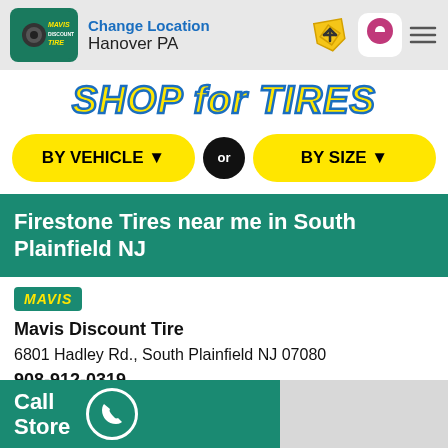Change Location
Hanover PA
SHOP for TIRES
BY VEHICLE ▼
or
BY SIZE ▼
Firestone Tires near me in South Plainfield NJ
[Figure (logo): Mavis badge logo (green background, yellow italic MAVIS text)]
Mavis Discount Tire
6801 Hadley Rd., South Plainfield NJ 07080
908-912-0319
✓ Make My Store
Schedule Appointment
Call
Store